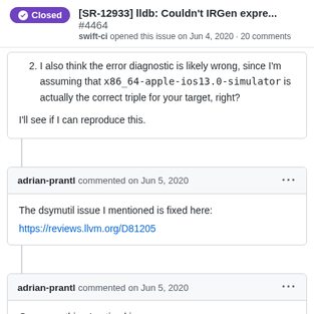[SR-12933] lldb: Couldn't IRGen expre... #4464
swift-ci opened this issue on Jun 4, 2020 · 20 comments
2. I also think the error diagnostic is likely wrong, since I'm assuming that x86_64-apple-ios13.0-simulator is actually the correct triple for your target, right?
I'll see if I can reproduce this.
adrian-prantl commented on Jun 5, 2020
The dsymutil issue I mentioned is fixed here:
https://reviews.llvm.org/D81205
adrian-prantl commented on Jun 5, 2020
One more thing I noticed in
https://gist.github.com/steinste/515646c0040c01c61b73d1cb...